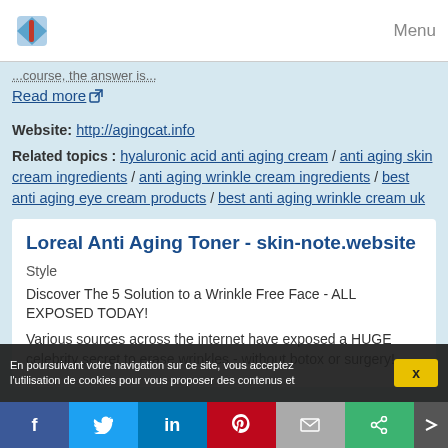Menu
...course, the answer is...
Read more
Website: http://agingcat.info
Related topics : hyaluronic acid anti aging cream / anti aging skin cream ingredients / anti aging wrinkle cream ingredients / best anti aging eye cream products / best anti aging wrinkle cream uk
Loreal Anti Aging Toner - skin-note.website
Style
Discover The 5 Solution to a Wrinkle Free Face - ALL EXPOSED TODAY!
Various sources across the internet have exposed a HUGE celebrity secret to erase wrinkles - without botox or surgery!
En poursuivant votre navigation sur ce site, vous acceptez l'utilisation de cookies pour vous proposer des contenus et
X